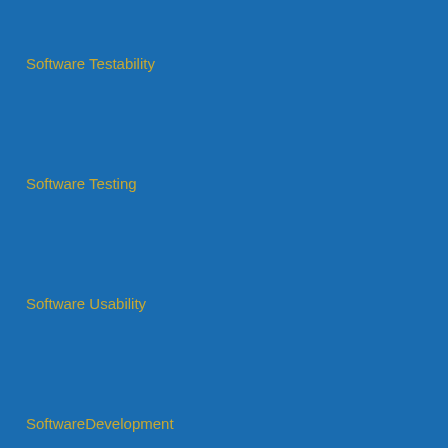Software Testability
Software Testing
Software Usability
SoftwareDevelopment
SoftwareDevelopmentLifecycle
Solutions
Southern Nevada Chapter of the PMI
Southern Nevada Chapter of the Project Management Institute
Southwest Virginia Chapter of the PMI